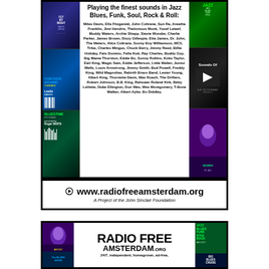[Figure (infographic): Radio Free Amsterdam advertisement with artist photos on left and right sides, center text listing jazz/blues/funk/soul/rock artists]
Playing the finest sounds in Jazz Blues, Funk, Soul, Rock & Roll:
Miles Davis, Ella Fitzgerald, John Coltrane, Sun Ra, Areatha Franklin, Jimi Hendrix, Thelonious Monk, Yusef Lateef, Muddy Waters, Archie Shepp, Stevie Wonder, Charlie Parker, James Brown, Dizzy Gillespie, Etta James, Dr. John, The Meters, Alice Coltrane, Sonny Boy Williamson, MC5, Tribe, Charles Mingus, Chuck Berry, Jimmy Reed, Billie Holiday, Fats Domino, Fella Kuti, Ray Charles, Buddy Guy, Big Mama Thornton, Eddie Bo, Sonny Rollins, Koko Taylor, Earl King, Magic Sam, Eddie Jefferson, Little Walter, Junior Wells, Louis Armstrong, Jimmy Smith, Bud Powell, Freddy King, Wild Magnolias, Rebirth Brass Band, Lester Young, Albert King, Thornetta Davis, Max Roach, The Drifters, Robert Johnson, B.B. King, Rahsaan Roland Kirk, Betty LaVette, Duke Ellington, Don Was, Wes Montgomery, T-Bone Walker, Albert Ayler, Bo Diddley.
www.radiofreeamsterdam.org
A Project of the John Sinclair Foundation
[Figure (infographic): Radio Free Amsterdam logo advertisement - bottom portion showing RADIO FREE AMSTERDAM.ORG in large bold text with 24/7, independent, homegrown, ad-free tagline]